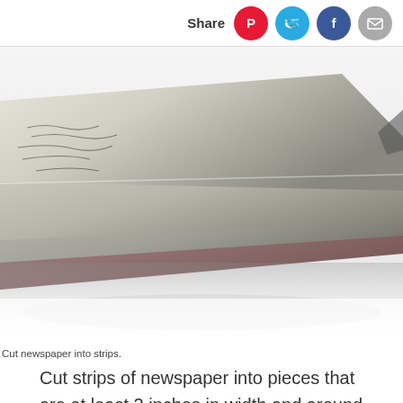Share
[Figure (photo): A folded newspaper seen from a low angle on a white surface, showing handwritten text on top pages and dark grey folded edges]
Cut newspaper into strips.
Cut strips of newspaper into pieces that are at least 2 inches in width and around 5 inches in length. In a bowl, mix together three cups of flour with one cup of